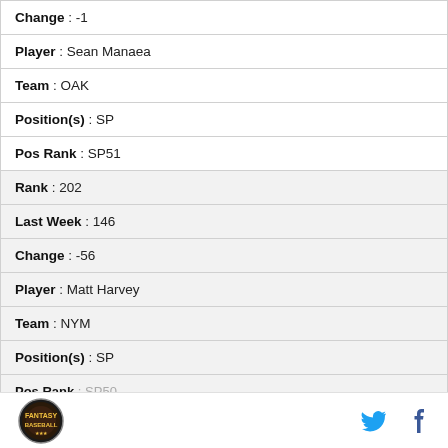| Change : -1 |
| Player : Sean Manaea |
| Team : OAK |
| Position(s) : SP |
| Pos Rank : SP51 |
| Rank : 202 |
| Last Week : 146 |
| Change : -56 |
| Player : Matt Harvey |
| Team : NYM |
| Position(s) : SP |
| Pos Rank : SP50 |
Logo | Twitter | Facebook